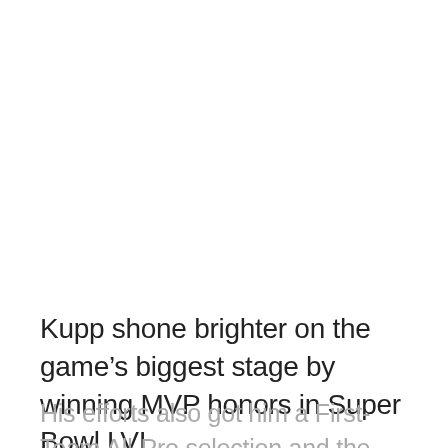Kupp shone brighter on the game's biggest stage by winning MVP honors in Super Bowl LVI.
His efforts also got him a First-Team All-Pro selection and the Offensive Player of the Year